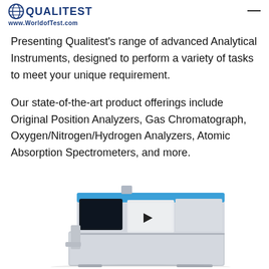QUALITEST www.WorldofTest.com
Presenting Qualitest's range of advanced Analytical Instruments, designed to perform a variety of tasks to meet your unique requirement.
Our state-of-the-art product offerings include Original Position Analyzers, Gas Chromatograph, Oxygen/Nitrogen/Hydrogen Analyzers, Atomic Absorption Spectrometers, and more.
[Figure (photo): Photo of a Qualitest analytical instrument — a gas chromatograph or elemental analyzer with a blue top panel, dark display screen on the left, and white main body with a front panel and drawer, sitting on a white base cabinet.]